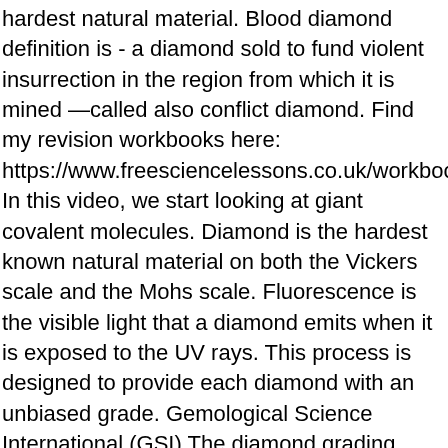hardest natural material. Blood diamond definition is - a diamond sold to fund violent insurrection in the region from which it is mined —called also conflict diamond. Find my revision workbooks here: https://www.freesciencelessons.co.uk/workbooks In this video, we start looking at giant covalent molecules. Diamond is the hardest known natural material on both the Vickers scale and the Mohs scale. Fluorescence is the visible light that a diamond emits when it is exposed to the UV rays. This process is designed to provide each diamond with an unbiased grade. Gemological Science International (GSI) The diamond grading process is roughly the same for all of the diamond certification labs. "Geology" is a much more limited science and just one part of "Earth science." Diamonds - Diamonds are one of the most valuable minerals on Earth. Covalent Crystals: Atoms in covalent crystals are linked by covalent bonds. Fun facts About Crystals. Brilliance definition, great brightness; luster: the brilliance of a fine diamond. Earth Science is the study of the Earth and its neighbors in space. Light striking the diamond at